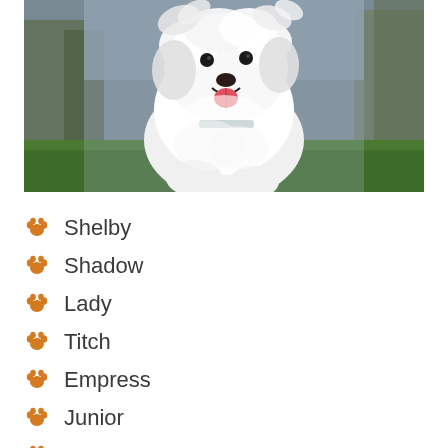[Figure (photo): A fluffy white dog running toward the camera with mouth open, photographed outdoors with green grass and blurred trees in the background.]
Shelby
Shadow
Lady
Titch
Empress
Junior
Sta...